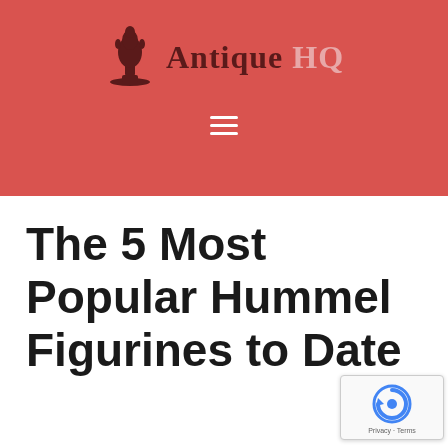Antique HQ
The 5 Most Popular Hummel Figurines to Date
[Figure (logo): reCAPTCHA privacy badge with blue circular arrow icon and 'Privacy · Terms' text]